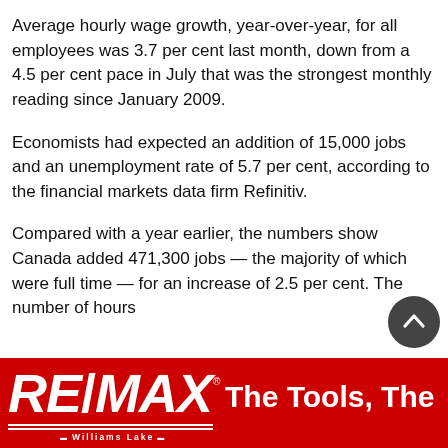Average hourly wage growth, year-over-year, for all employees was 3.7 per cent last month, down from a 4.5 per cent pace in July that was the strongest monthly reading since January 2009.
Economists had expected an addition of 15,000 jobs and an unemployment rate of 5.7 per cent, according to the financial markets data firm Refinitiv.
Compared with a year earlier, the numbers show Canada added 471,300 jobs — the majority of which were full time — for an increase of 2.5 per cent. The number of hours
[Figure (other): RE/MAX Williams Lake advertisement banner with red background, RE/MAX logo in white italic text, and partial tagline 'The Tools, The']